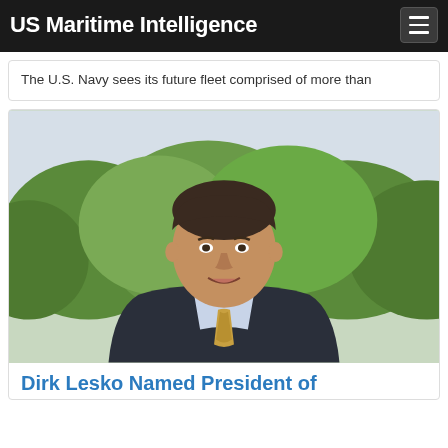US Maritime Intelligence
The U.S. Navy sees its future fleet comprised of more than
[Figure (photo): Professional headshot of Dirk Lesko, a middle-aged man in a dark suit with a gold patterned tie, smiling, with greenery in the background]
Dirk Lesko Named President of